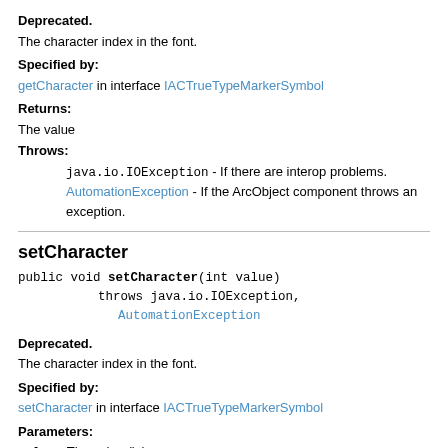Deprecated. The character index in the font.
Specified by: getCharacter in interface IACTrueTypeMarkerSymbol
Returns: The value
Throws: java.io.IOException - If there are interop problems. AutomationException - If the ArcObject component throws an exception.
setCharacter
public void setCharacter(int value) throws java.io.IOException, AutomationException
Deprecated. The character index in the font.
Specified by: setCharacter in interface IACTrueTypeMarkerSymbol
Parameters: value - The value (in)
Throws: